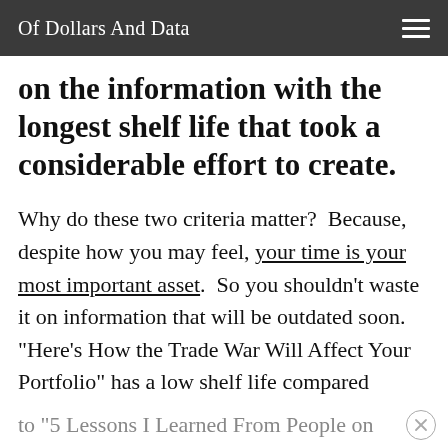Of Dollars And Data
on the information with the longest shelf life that took a considerable effort to create.
Why do these two criteria matter?  Because, despite how you may feel, your time is your most important asset.  So you shouldn’t waste it on information that will be outdated soon.  “Here’s How the Trade War Will Affect Your Portfolio” has a low shelf life compared
to “5 Lessons I Learned From People on